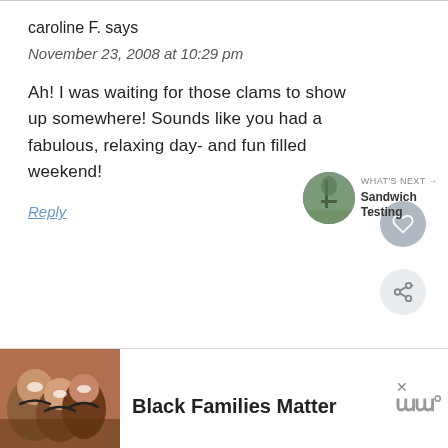caroline F. says
November 23, 2008 at 10:29 pm
Ah! I was waiting for those clams to show up somewhere! Sounds like you had a fabulous, relaxing day- and fun filled weekend!
Reply
[Figure (other): What's Next panel with forest thumbnail image and text 'Sandwich Testing']
[Figure (other): Advertisement banner with photo of smiling people, close X button, bold text 'Black Families Matter', and stylized W logo]